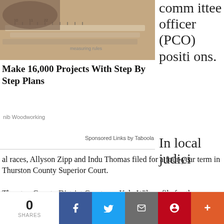[Figure (photo): Close-up photo of wooden rulers/measuring tapes on a wooden surface]
Make 16,000 Projects With Step By Step Plans
nib Woodworking
committee officer (PCO) positions.
Sponsored Links by Taboola
In local judicial races, Allyson Zipp and Indu Thomas filed for a four-year term in Thurston County Superior Court.
Thurston County District Court saw Kalo Wilcox file for the position one judge, while Sam Meyer filed for the district judge position two. Brett Buckley filed for district court judge position three.
0 SHARES  [Facebook] [Twitter] [Email] [Pinterest] [More]